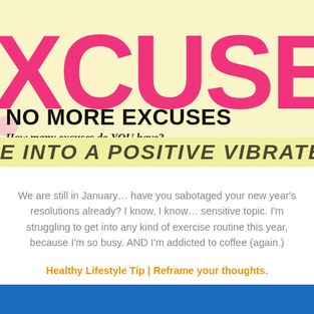[Figure (illustration): Large pink/hot-pink hand-lettered text 'XCUSE' (partial word, cropped at edges) on a pale yellow background banner at the top of the page.]
NO MORE EXCUSES
How many excuses do YOU have?
E INTO A POSITIVE VIBRATE
We are still in January… have you sabotaged your new year's resolutions already? I know, I know… sensitive topic. I'm struggling to get into any kind of exercise routine this year, because I'm so busy. AND I'm addicted to coffee (again.)
Healthy Lifestyle Tip | Reframe your thoughts.
[Figure (illustration): Solid blue horizontal bar/footer at the bottom of the page.]